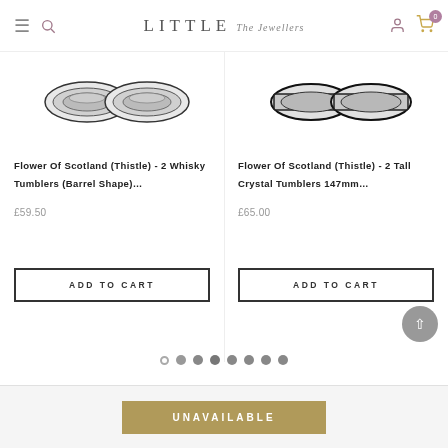LITTLE The Jewellers
[Figure (photo): Two crystal whisky tumblers (barrel shape) shown from top-down view, Flower of Scotland Thistle design]
Flower Of Scotland (Thistle) - 2 Whisky Tumblers (Barrel Shape)...
£59.50
ADD TO CART
[Figure (photo): Two tall crystal tumblers 147mm shown from top-down view, Flower of Scotland Thistle design]
Flower Of Scotland (Thistle) - 2 Tall Crystal Tumblers 147mm...
£65.00
ADD TO CART
UNAVAILABLE